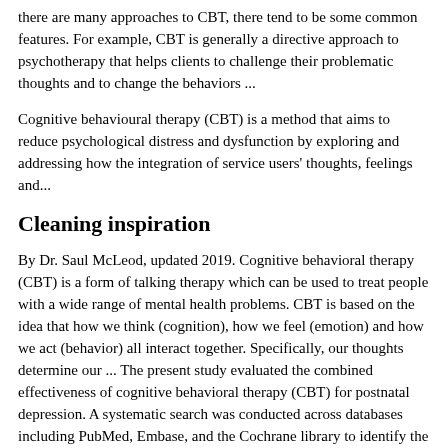there are many approaches to CBT, there tend to be some common features. For example, CBT is generally a directive approach to psychotherapy that helps clients to challenge their problematic thoughts and to change the behaviors ...
Cognitive behavioural therapy (CBT) is a method that aims to reduce psychological distress and dysfunction by exploring and addressing how the integration of service users' thoughts, feelings and...
Cleaning inspiration
By Dr. Saul McLeod, updated 2019. Cognitive behavioral therapy (CBT) is a form of talking therapy which can be used to treat people with a wide range of mental health problems. CBT is based on the idea that how we think (cognition), how we feel (emotion) and how we act (behavior) all interact together. Specifically, our thoughts determine our ... The present study evaluated the combined effectiveness of cognitive behavioral therapy (CBT) for postnatal depression. A systematic search was conducted across databases including PubMed, Embase, and the Cochrane library to identify the randomized controlled trials (RCTs) that assessing CBT versus control for postnatal depression until March 2017. Data was extracted by two reviewers ...